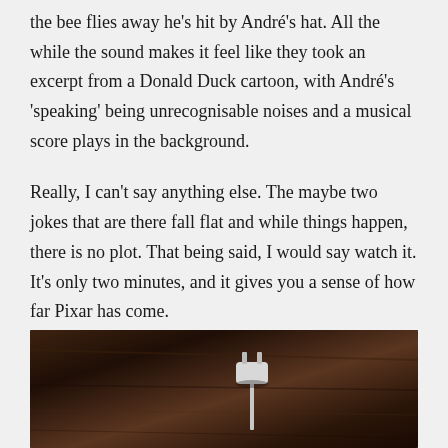the bee flies away he's hit by André's hat. All the while the sound makes it feel like they took an excerpt from a Donald Duck cartoon, with André's 'speaking' being unrecognisable noises and a musical score plays in the background.
Really, I can't say anything else. The maybe two jokes that are there fall flat and while things happen, there is no plot. That being said, I would say watch it. It's only two minutes, and it gives you a sense of how far Pixar has come.
3/10
[Figure (photo): Dark photograph showing what appears to be a white electrical plug or connector on a wooden surface]